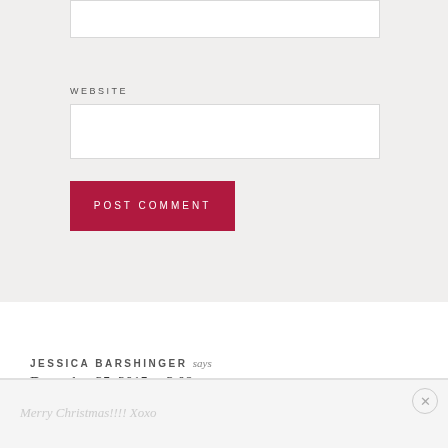[Figure (screenshot): Web form section with WEBSITE label and input box on gray background]
WEBSITE
[Figure (screenshot): POST COMMENT button in dark red/crimson color]
JESSICA BARSHINGER says
December 25, 2015 at 3:08 pm
Merry Christmas!!!! Xoxo